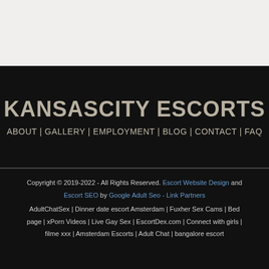KANSASCITY ESCORTS
ABOUT | GALLERY | EMPLOYMENT | BLOG | CONTACT | FAQ
Copyright © 2019-2022 - All Rights Reserved. Escort Website Design and Escort SEO by Google Adult Seo - Link Partners
AdultChatSex | Dinner date escort Amsterdam | Fuxher Sex Cams | Bed page | xPorn Videos | Live Gay Sex | EscortDex.com | Connect with girls | filme xxx | Amsterdam Escorts | Adult Chat | bangalore escort